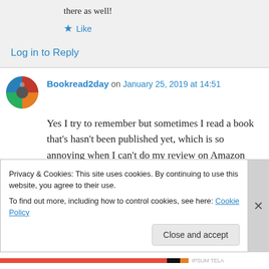there as well!
★ Like
Log in to Reply
Bookread2day on January 25, 2019 at 14:51
Yes I try to remember but sometimes I read a book that's hasn't been published yet, which is so annoying when I can't do my review on Amazon then I end up forgetting to do my
Privacy & Cookies: This site uses cookies. By continuing to use this website, you agree to their use.
To find out more, including how to control cookies, see here: Cookie Policy
Close and accept